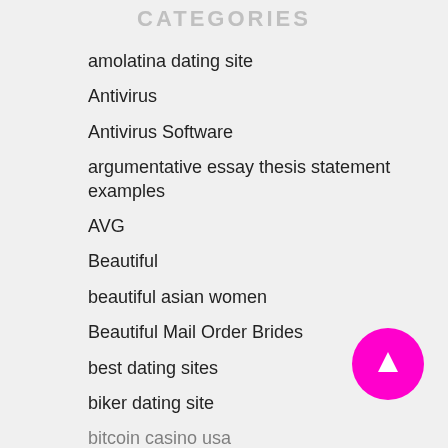CATEGORIES
amolatina dating site
Antivirus
Antivirus Software
argumentative essay thesis statement examples
AVG
Beautiful
beautiful asian women
Beautiful Mail Order Brides
best dating sites
biker dating site
bitcoin casino usa